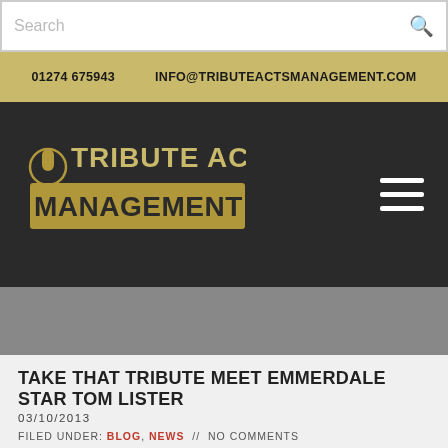Search
01274 675943   INFO@TRIBUTEACTSMANAGEMENT.COM
[Figure (logo): Tribute Acts Management logo with microphone graphic on dark background]
TAKE THAT TRIBUTE MEET EMMERDALE STAR TOM LISTER
03/10/2013
FILED UNDER: BLOG, NEWS // NO COMMENTS
Take That Tribute Meet Emmerdale Star Tom Lister
Take That tribute band 'Rule The World' were delighted to